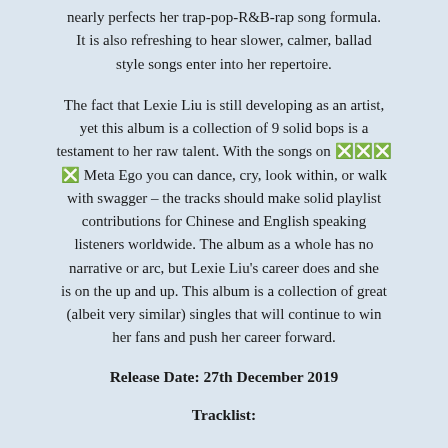nearly perfects her trap-pop-R&B-rap song formula. It is also refreshing to hear slower, calmer, ballad style songs enter into her repertoire.
The fact that Lexie Liu is still developing as an artist, yet this album is a collection of 9 solid bops is a testament to her raw talent. With the songs on [emoji] Meta Ego you can dance, cry, look within, or walk with swagger – the tracks should make solid playlist contributions for Chinese and English speaking listeners worldwide. The album as a whole has no narrative or arc, but Lexie Liu's career does and she is on the up and up. This album is a collection of great (albeit very similar) singles that will continue to win her fans and push her career forward.
Release Date: 27th December 2019
Tracklist: